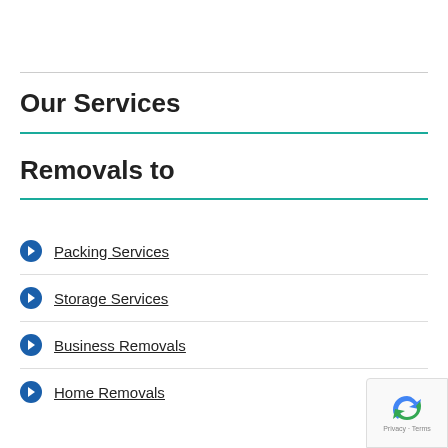Our Services
Removals to
Packing Services
Storage Services
Business Removals
Home Removals